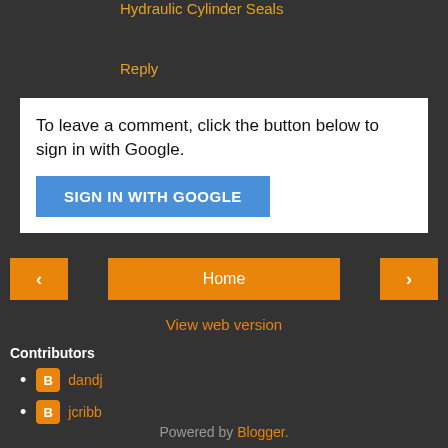Hydraulic Cylinder Seals
Reply
To leave a comment, click the button below to sign in with Google.
SIGN IN WITH GOOGLE
< Home >
View web version
Contributors
dandj
jcribb
Powered by Blogger.